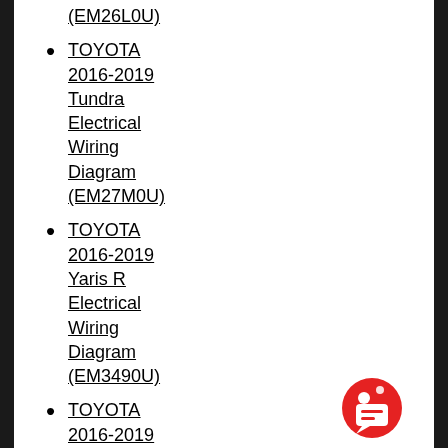(EM26L0U)
TOYOTA 2016-2019 Tundra Electrical Wiring Diagram (EM27M0U)
TOYOTA 2016-2019 Yaris R Electrical Wiring Diagram (EM3490U)
TOYOTA 2016-2019